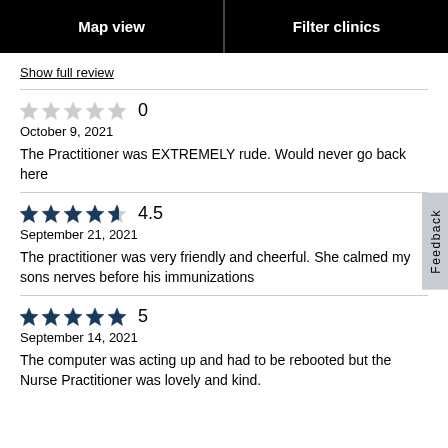Map view | Filter clinics
Show full review
0
October 9, 2021
The Practitioner was EXTREMELY rude. Would never go back here
4.5
September 21, 2021
The practitioner was very friendly and cheerful. She calmed my sons nerves before his immunizations
5
September 14, 2021
The computer was acting up and had to be rebooted but the Nurse Practitioner was lovely and kind.